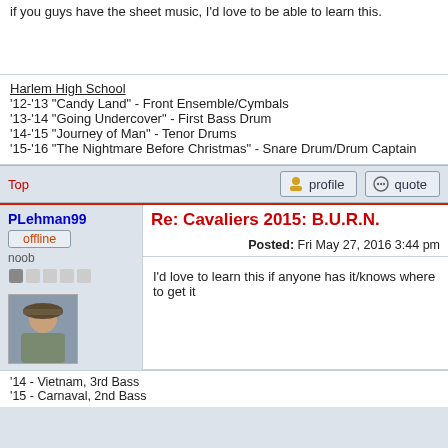if you guys have the sheet music, I'd love to be able to learn this.
Harlem High School
'12-'13 "Candy Land" - Front Ensemble/Cymbals
'13-'14 "Going Undercover" - First Bass Drum
'14-'15 "Journey of Man" - Tenor Drums
'15-'16 "The Nightmare Before Christmas" - Snare Drum/Drum Captain
Top
profile
quote
PLehman99
offline
noob
[Figure (other): User avatar photo of a person wearing a hat]
Re: Cavaliers 2015: B.U.R.N.
Posted: Fri May 27, 2016 3:44 pm
I'd love to learn this if anyone has it/knows where to get it
'14 - Vietnam, 3rd Bass
'15 - Carnaval, 2nd Bass